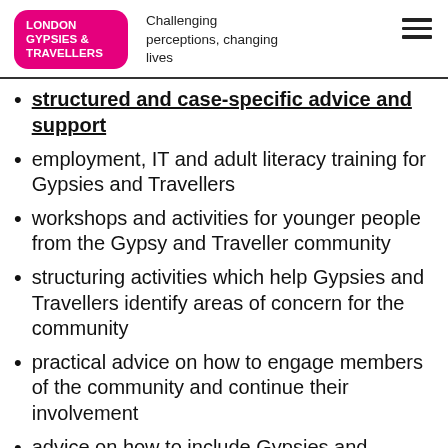LONDON GYPSIES & TRAVELLERS — Challenging perceptions, changing lives
structured and case-specific advice and support
employment, IT and adult literacy training for Gypsies and Travellers
workshops and activities for younger people from the Gypsy and Traveller community
structuring activities which help Gypsies and Travellers identify areas of concern for the community
practical advice on how to engage members of the community and continue their involvement
advice on how to include Gypsies and Travellers in planning project activities